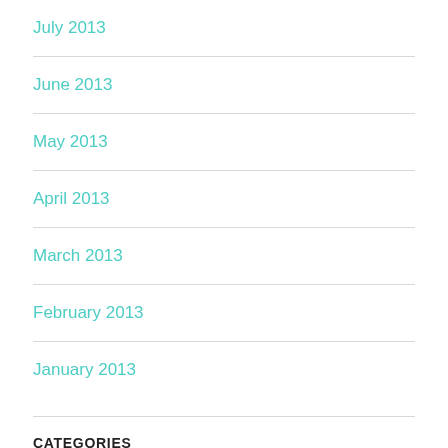July 2013
June 2013
May 2013
April 2013
March 2013
February 2013
January 2013
CATEGORIES